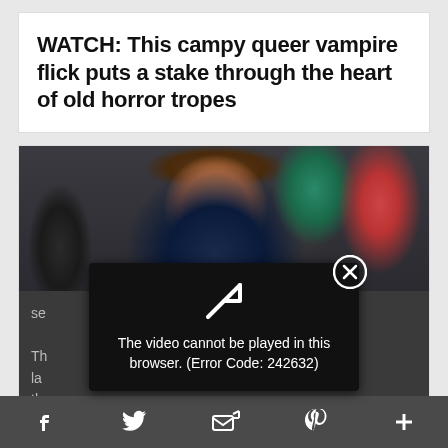WATCH: This campy queer vampire flick puts a stake through the heart of old horror tropes
[Figure (photo): Man in a navy suit with a red tie standing in front of flags, with another person in a dark suit visible behind him]
se
Th la th la
[Figure (screenshot): Video error overlay on dark background showing a play icon and text: The video cannot be played in this browser. (Error Code: 242632)]
f  [Twitter bird]  [email/share icon]  p  +